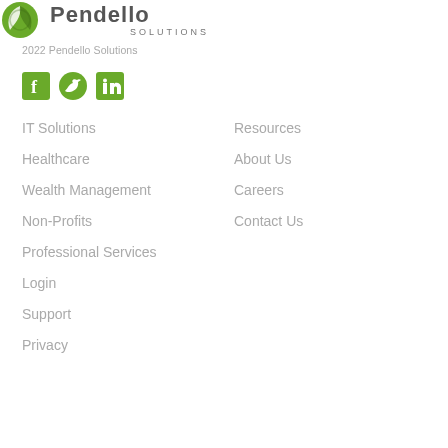[Figure (logo): Pendello Solutions logo — circular green leaf icon left, 'Pendello SOLUTIONS' text right]
2022 Pendello Solutions
[Figure (other): Social media icons: Facebook (green square), Twitter (green bird), LinkedIn (green square)]
IT Solutions
Healthcare
Wealth Management
Non-Profits
Professional Services
Login
Support
Privacy
Resources
About Us
Careers
Contact Us